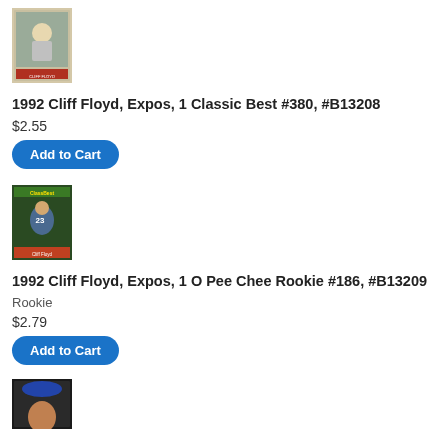[Figure (photo): Baseball card image for 1992 Cliff Floyd Classic Best #380]
1992 Cliff Floyd, Expos, 1 Classic Best #380, #B13208
$2.55
Add to Cart
[Figure (photo): Baseball card image for 1992 Cliff Floyd O Pee Chee Rookie #186]
1992 Cliff Floyd, Expos, 1 O Pee Chee Rookie #186, #B13209
Rookie
$2.79
Add to Cart
[Figure (photo): Baseball card image partially visible at bottom of page]